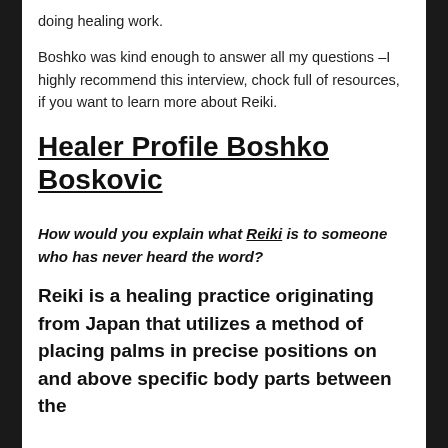doing healing work.
Boshko was kind enough to answer all my questions –I highly recommend this interview, chock full of resources, if you want to learn more about Reiki.
Healer Profile Boshko Boskovic
How would you explain what Reiki is to someone who has never heard the word?
Reiki is a healing practice originating from Japan that utilizes a method of placing palms in precise positions on and above specific body parts between the